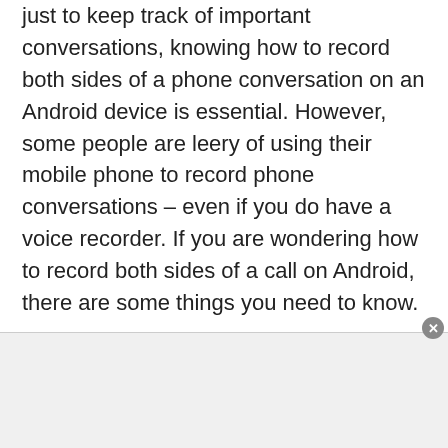just to keep track of important conversations, knowing how to record both sides of a phone conversation on an Android device is essential. However, some people are leery of using their mobile phone to record phone conversations – even if you do have a voice recorder. If you are wondering how to record both sides of a call on Android, there are some things you need to know.

First, you need to know your legality. There are laws that govern recording phone calls